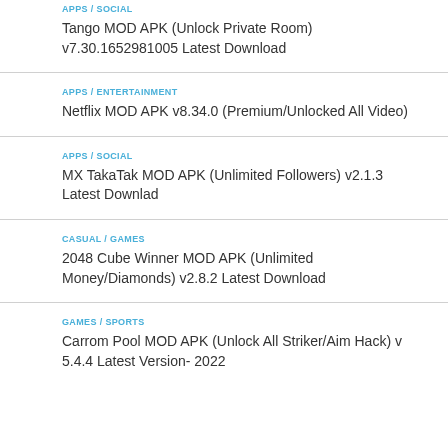APPS / SOCIAL
Tango MOD APK (Unlock Private Room) v7.30.1652981005 Latest Download
APPS / ENTERTAINMENT
Netflix MOD APK v8.34.0 (Premium/Unlocked All Video)
APPS / SOCIAL
MX TakaTak MOD APK (Unlimited Followers) v2.1.3 Latest Downlad
CASUAL / GAMES
2048 Cube Winner MOD APK (Unlimited Money/Diamonds) v2.8.2 Latest Download
GAMES / SPORTS
Carrom Pool MOD APK (Unlock All Striker/Aim Hack) v 5.4.4 Latest Version- 2022